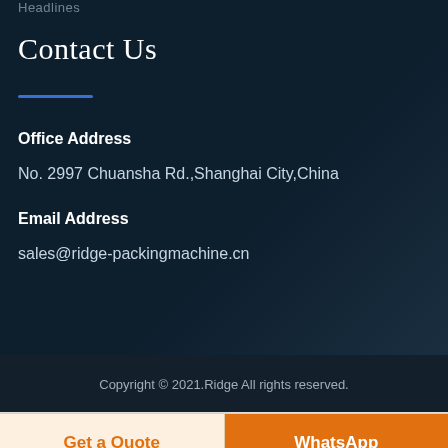Headlines
Contact Us
Office Address
No. 2997 Chuansha Rd.,Shanghai City,China
Email Address
sales@ridge-packingmachine.cn
Copyright © 2021.Ridge All rights reserved.
Get a Quote
WhatsApp